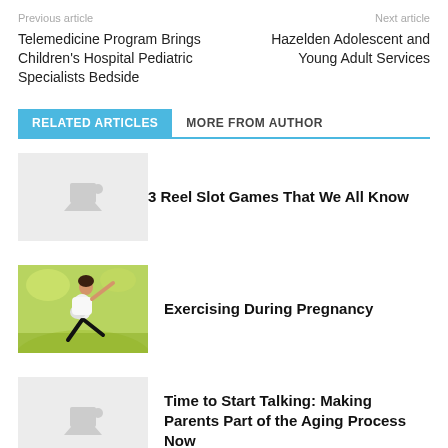Previous article
Next article
Telemedicine Program Brings Children's Hospital Pediatric Specialists Bedside
Hazelden Adolescent and Young Adult Services
RELATED ARTICLES
MORE FROM AUTHOR
3 Reel Slot Games That We All Know
[Figure (photo): Placeholder image thumbnail for article]
Exercising During Pregnancy
[Figure (photo): Photo of a pregnant woman stretching outdoors on green grass]
Time to Start Talking: Making Parents Part of the Aging Process Now
[Figure (photo): Placeholder image thumbnail for article]